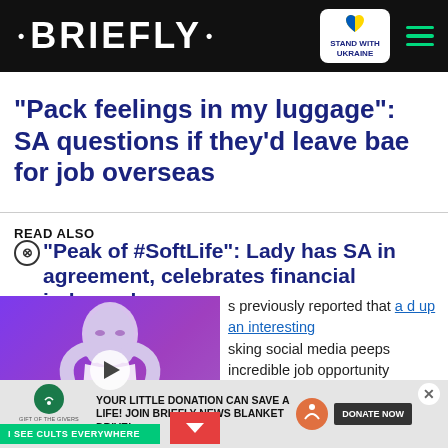• BRIEFLY •  STAND WITH UKRAINE  [menu]
"Pack feelings in my luggage": SA questions if they'd leave bae for job overseas
READ ALSO
"Peak of #SoftLife": Lady has SA in agreement, celebrates financial independence
[Figure (screenshot): Video thumbnail showing a bald woman against a purple background with 'I SEE CULTS EVERYWHERE' label and a play button overlay]
s previously reported that a d up an interesting sking social media peeps incredible job opportunity
[Figure (infographic): Advertisement banner: Gift of the Givers Foundation / BRIEFLY - YOUR LITTLE DONATION CAN SAVE A LIFE! JOIN BRIEFLY NEWS BLANKET DRIVE! DONATE NOW]